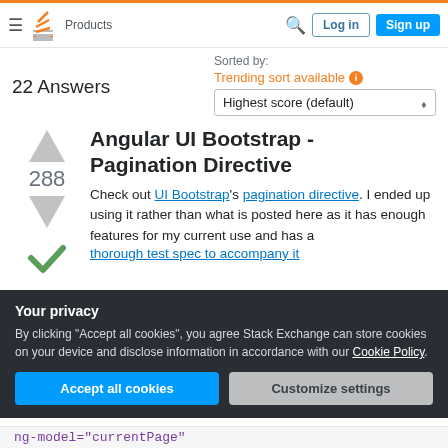≡  [Stack Overflow logo]  Products  🔍  Log in  Sign up
Sorted by:
Trending sort available ℹ
Highest score (default)
22 Answers
Angular UI Bootstrap - Pagination Directive
Check out UI Bootstrap's pagination directive. I ended up using it rather than what is posted here as it has enough features for my current use and has a
Your privacy
By clicking "Accept all cookies", you agree Stack Exchange can store cookies on your device and disclose information in accordance with our Cookie Policy.
Accept all cookies   Customize settings
ng-model="currentPage"